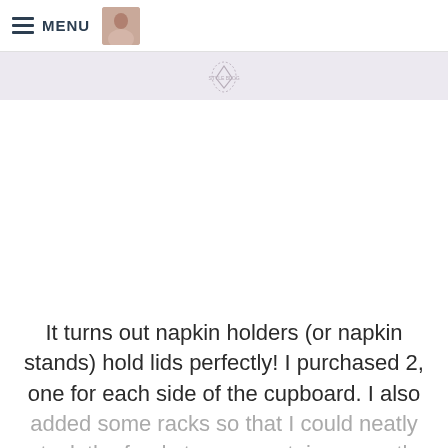MENU
[Figure (logo): Small heart/diamond logo watermark centered in a light lavender banner bar]
It turns out napkin holders (or napkin stands) hold lids perfectly! I purchased 2, one for each side of the cupboard. I also added some racks so that I could neatly stack the food storage containers neatly